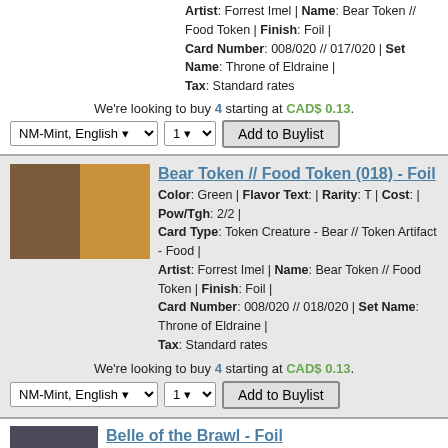Artist: Forrest Imel | Name: Bear Token // Food Token | Finish: Foil | Card Number: 008/020 // 017/020 | Set Name: Throne of Eldraine | Tax: Standard rates
We're looking to buy 4 starting at CAD$ 0.13.
NM-Mint, English | 1 | Add to Buylist
Bear Token // Food Token (018) - Foil
Color: Green | Flavor Text: | Rarity: T | Cost: | Pow/Tgh: 2/2 | Card Type: Token Creature - Bear // Token Artifact - Food | Artist: Forrest Imel | Name: Bear Token // Food Token | Finish: Foil | Card Number: 008/020 // 018/020 | Set Name: Throne of Eldraine | Tax: Standard rates
We're looking to buy 4 starting at CAD$ 0.13.
NM-Mint, English | 1 | Add to Buylist
Belle of the Brawl - Foil
Color: Black | Flavor Text: | Rarity: U | Cost: 2B | Pow/Tgh: 3/2 | Card Type: Creature - Human Knight | Artist: Magali Villeneuve | Name: Belle of the Brawl | Finish: Foil | Card Number: 078/269 | Set Name: Throne of Eldraine | Tax: Standard rates
We're looking to buy 1 starting at CAD$ 0.18.
NM-Mint, English | 1 | Add to Buylist
Boar Token // Food Token (015) - Foil
Color: Green | Flavor Text: | Rarity: T | Cost: | Pow/Tgh: 1/1 | Card Type: Token Creature - Boar // Token Artifact - Food | Artist: Stacie Pitt | Name: Boar Token // Food Token | Finish: Foil |